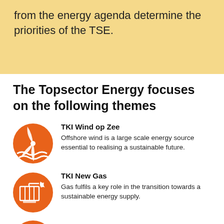from the energy agenda determine the priorities of the TSE.
The Topsector Energy focuses on the following themes
[Figure (illustration): Orange circle icon with wind turbine and waves representing offshore wind energy]
TKI Wind op Zee – Offshore wind is a large scale energy source essential to realising a sustainable future.
[Figure (illustration): Orange circle icon with gas boiler/radiator and flame representing new gas]
TKI New Gas – Gas fulfils a key role in the transition towards a sustainable energy supply.
[Figure (illustration): Orange circle icon partially visible representing TKI Urban Energy]
TKI Urban Energy